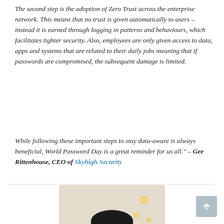The second step is the adoption of Zero Trust across the enterprise network. This means that no trust is given automatically to users – instead it is earned through logging in patterns and behaviours, which facilitates tighter security. Also, employees are only given access to data, apps and systems that are related to their daily jobs meaning that if passwords are compromised, the subsequent damage is limited.
While following these important steps to stay data-aware is always beneficial, World Password Day is a great reminder for us all." – Gee Rittenhouse, CEO of Skyhigh Security
[Figure (photo): Headshot photograph of Gee Rittenhouse, CEO of Skyhigh Security — a man with dark hair wearing glasses, photographed indoors near a window with decorative lights in the background.]